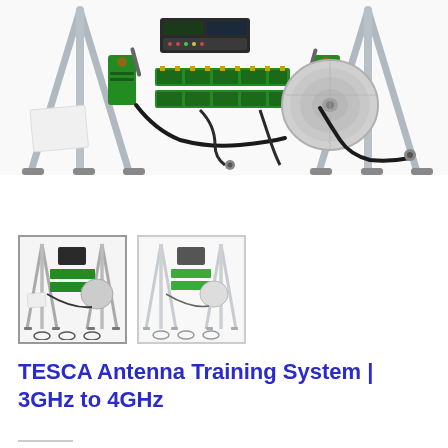[Figure (photo): Close-up photo of the TESCA Antenna Training System showing two metal tripod stands with green circuit boards, display modules, a disc antenna, cables and connectors arranged on a white background.]
[Figure (photo): Thumbnail image 1 (selected/active): Full view of the TESCA Antenna Training System with two tripod stands, circuit boards, and round disc antenna on white background.]
[Figure (photo): Thumbnail image 2: Slightly different angle view of the TESCA Antenna Training System showing the same equipment with tripod stands, circuit boards, and cables.]
TESCA Antenna Training System | 3GHz to 4GHz